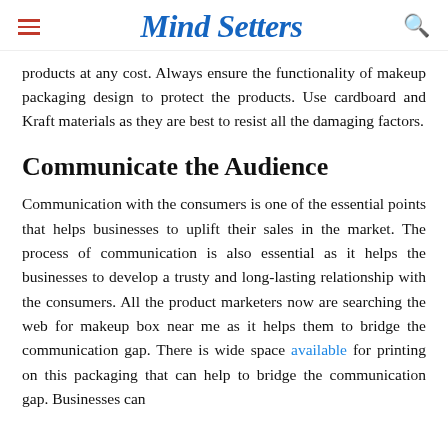Mind Setters
products at any cost. Always ensure the functionality of makeup packaging design to protect the products. Use cardboard and Kraft materials as they are best to resist all the damaging factors.
Communicate the Audience
Communication with the consumers is one of the essential points that helps businesses to uplift their sales in the market. The process of communication is also essential as it helps the businesses to develop a trusty and long-lasting relationship with the consumers. All the product marketers now are searching the web for makeup box near me as it helps them to bridge the communication gap. There is wide space available for printing on this packaging that can help to bridge the communication gap. Businesses can